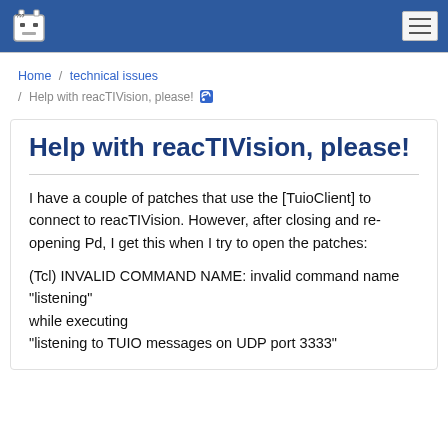??? [robot logo] [hamburger menu]
Home / technical issues / Help with reacTIVision, please! [RSS]
Help with reacTIVision, please!
I have a couple of patches that use the [TuioClient] to connect to reacTIVision. However, after closing and re-opening Pd, I get this when I try to open the patches:

(Tcl) INVALID COMMAND NAME: invalid command name "listening"
while executing
"listening to TUIO messages on UDP port 3333"